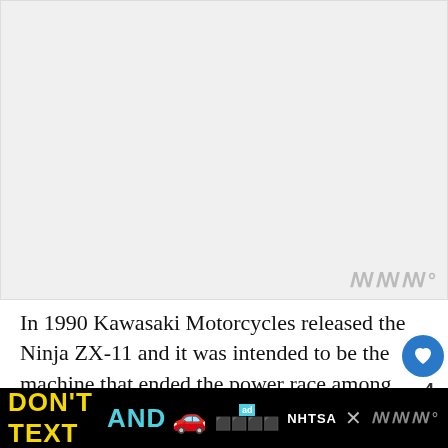[Figure (photo): Placeholder image area at top of page, light gray background]
In 1990 Kawasaki Motorcycles released the Ninja ZX-11 and it was intended to be the machine that ended the power race among the Japanese marques and for a while it did just that.
The Ninja GPZ900R had started the Ninja line in 1984 to much success with several bikes naming it 'Bike of the Year', the ZX-10 followed.
6 years later Kawasaki Motorcycles went back to the... ZX-11.
[Figure (screenshot): Advertisement banner at bottom: DON'T TEXT AND [car emoji] with NHTSA branding on black background]